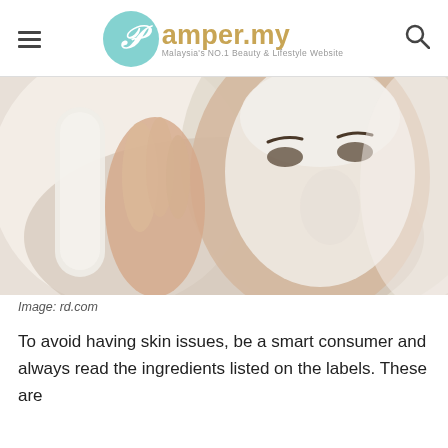pamper.my — Malaysia's NO.1 Beauty & Lifestyle Website
[Figure (photo): Close-up of a woman applying a white face mask/cream, looking into a mirror, with skin care product visible]
Image: rd.com
To avoid having skin issues, be a smart consumer and always read the ingredients listed on the labels. These are